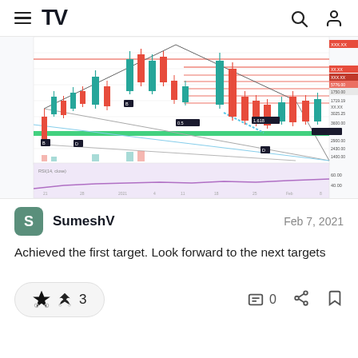TradingView navigation header with hamburger menu, TV logo, search and profile icons
[Figure (screenshot): TradingView candlestick chart showing crypto price action with trendlines, support/resistance levels, Fibonacci points labeled (B, 0.5, 0.786s, 1.618), price labels on right axis, green support zone, blue projected move, and RSI indicator below with lavender shading. X-axis dates: 21, 28, 2021, 4, 11, 18, 25, Feb, 8.]
SumeshV
Feb 7, 2021
Achieved the first target. Look forward to the next targets
3
0